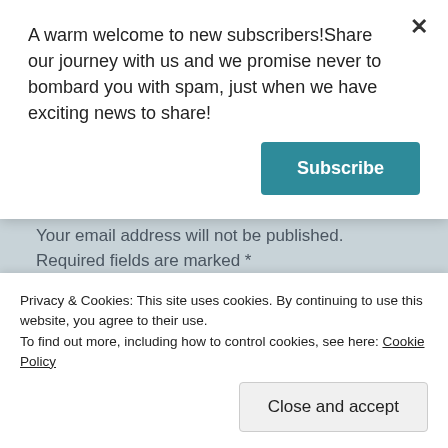A warm welcome to new subscribers!Share our journey with us and we promise never to bombard you with spam, just when we have exciting news to share!
Subscribe
Gnobob16 cancel reply
Your email address will not be published. Required fields are marked *
Comment *
Privacy & Cookies: This site uses cookies. By continuing to use this website, you agree to their use.
To find out more, including how to control cookies, see here: Cookie Policy
Close and accept